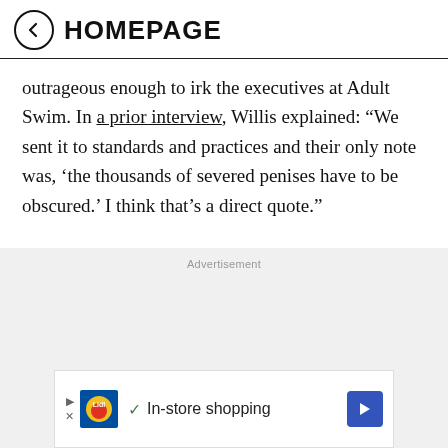HOMEPAGE
outrageous enough to irk the executives at Adult Swim. In a prior interview, Willis explained: “We sent it to standards and practices and their only note was, ‘the thousands of severed penises have to be obscured.’ I think that’s a direct quote.”
Advertisement
[Figure (other): Lidl advertisement banner showing Lidl logo, checkmark, text 'In-store shopping', and a blue arrow icon]